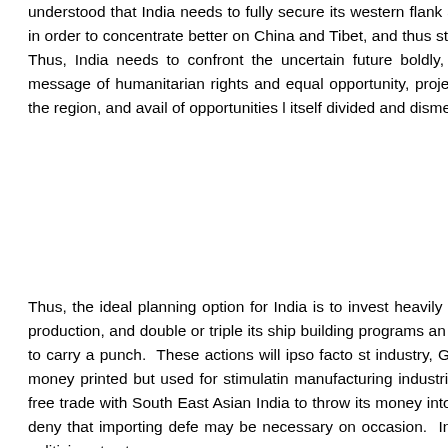understood that India needs to fully secure its western flank and neutralize all threats from the west in order to concentrate better on China and Tibet, and thus strengthen its hand on the eastern flank. Thus, India needs to confront the uncertain future boldly, be a force in the region, spread the message of humanitarian rights and equal opportunity, project interests of peace and equanimity in the region, and avail of opportunities lest it find itself divided and dismembered.
that objecti tha pa specto
Thus, the ideal planning option for India is to invest heavily on liberating Pa massively in engineering enterprise and education that can advanc armament production, and double or triple its ship building programs an which it has exceptional expertise and capability; and it must plan this in ten plan to be effective to carry a punch. These actions will ipso facto st industry, GDP growth, and bring employment and happiness to its peo educated people understand that money printed but used for stimulatin manufacturing industries actually stimulates the economy, while inflation means such as control of interest rates and free trade with South East Asian India to throw its money into foreign nations for expensive defense procure sound like wisdom in action, though one cannot deny that importing defe may be necessary on occasion. India actually begs for enlightened leade moral fiber and a spine to go with it. It is time for the politicians to stop squ